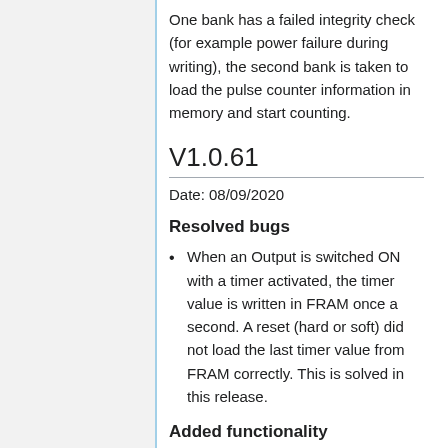One bank has a failed integrity check (for example power failure during writing), the second bank is taken to load the pulse counter information in memory and start counting.
V1.0.61
Date: 08/09/2020
Resolved bugs
When an Output is switched ON with a timer activated, the timer value is written in FRAM once a second. A reset (hard or soft) did not load the last timer value from FRAM correctly. This is solved in this release.
Added functionality
Added to...